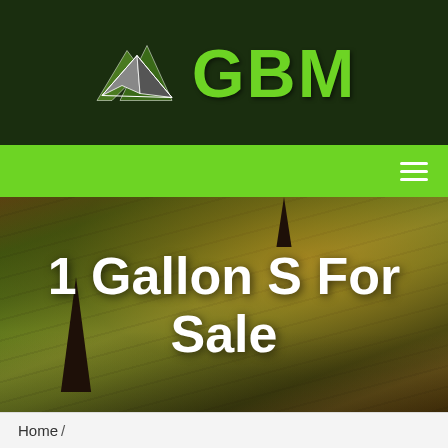[Figure (logo): GBM logo with mountain/arrow icon in dark green header bar]
[Figure (other): Green navigation bar with hamburger menu icon on right]
[Figure (photo): Aerial view of agricultural fields with warm sunset tones, dark cypress-like trees, and diagonal field lines. Text overlay reads '1 Gallon S For Sale']
1 Gallon S For Sale
Home /